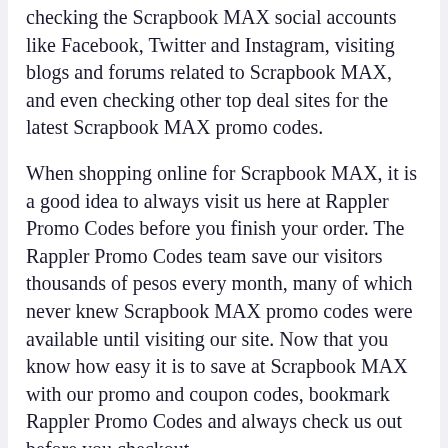checking the Scrapbook MAX social accounts like Facebook, Twitter and Instagram, visiting blogs and forums related to Scrapbook MAX, and even checking other top deal sites for the latest Scrapbook MAX promo codes.
When shopping online for Scrapbook MAX, it is a good idea to always visit us here at Rappler Promo Codes before you finish your order. The Rappler Promo Codes team save our visitors thousands of pesos every month, many of which never knew Scrapbook MAX promo codes were available until visiting our site. Now that you know how easy it is to save at Scrapbook MAX with our promo and coupon codes, bookmark Rappler Promo Codes and always check us out before you checkout.
If you are looking for more than just Scrapbook MAX coupon codes, here at Rappler Promo Codes we provide coupons and discounts for thousands of other popular brands and retailers. Check out our Scrapbook MAX related stores, or visit our homepage to search our database of thousands of